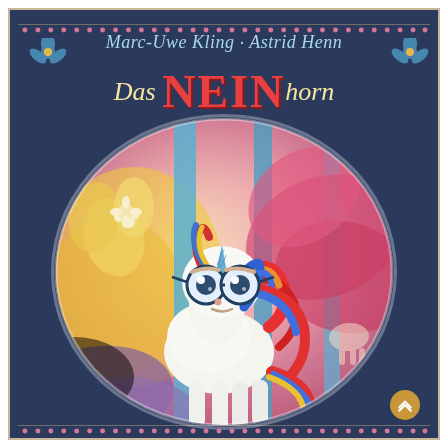[Figure (illustration): Book cover of 'Das NEINhorn' by Marc-Uwe Kling and Astrid Henn. Dark navy blue background with decorative border of small pink dots. Authors' names at top in light blue italic text. Large title with 'Das' and 'horn' in cream/yellow italic script and 'NEIN' in large bold red letters. Central circular illustration showing a grumpy-looking white unicorn with colorful rainbow mane (red, blue, yellow), round owl-like blue glasses, and a blue horn, set against a vibrant background of tropical leaves in pink, yellow, and blue tones. Small unicorn silhouettes visible in background. Decorative blue floral elements in corners. Gold publisher badge in bottom right corner.]